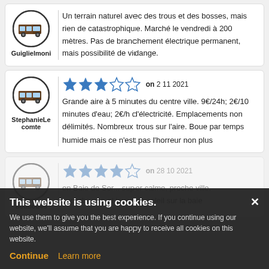Guiglielmoni — Un terrain naturel avec des trous et des bosses, mais rien de catastrophique. Marché le vendredi à 200 mètres. Pas de branchement électrique permanent, mais possibilité de vidange.
StephanieLecomte — 3/5 stars on 2 11 2021 — Grande aire à 5 minutes du centre ville. 9€/24h; 2€/10 minutes d'eau; 2€/h d'électricité. Emplacements non délimités. Nombreux trous sur l'aire. Boue par temps humide mais ce n'est pas l'horreur non plus
boubou45 — 4/5 stars on 28 10 2021 — en Baie de Sor... super calme, proche ville. superbe vue et lever de soleil sur la baie
This website is using cookies. We use them to give you the best experience. If you continue using our website, we'll assume that you are happy to receive all cookies on this website. Continue | Learn more